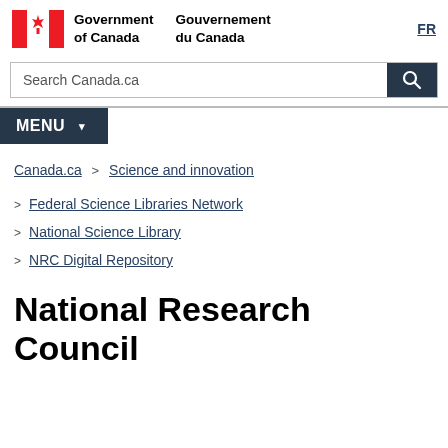Government of Canada | Gouvernement du Canada | FR
[Figure (logo): Canada Government wordmark with maple leaf flag logo]
Search Canada.ca
MENU
Canada.ca > Science and innovation > Federal Science Libraries Network > National Science Library > NRC Digital Repository
National Research Council